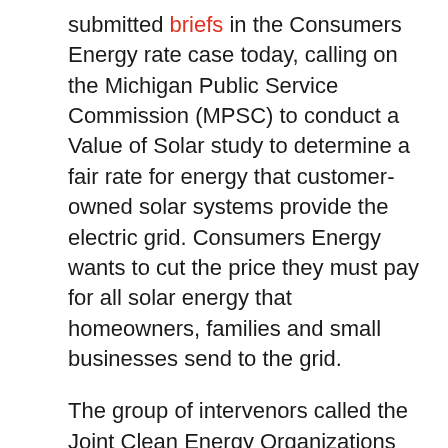submitted briefs in the Consumers Energy rate case today, calling on the Michigan Public Service Commission (MPSC) to conduct a Value of Solar study to determine a fair rate for energy that customer-owned solar systems provide the electric grid. Consumers Energy wants to cut the price they must pay for all solar energy that homeowners, families and small businesses send to the grid.
The group of intervenors called the Joint Clean Energy Organizations (JCEO) consists of: the Ecology Center, the Environmental Law & Policy Center, the Great Lakes Renewable Energy Association, the Solar Energy Industries Association, and Vote Solar.
Register for the expert webinar Monday, August 31 at noon ET